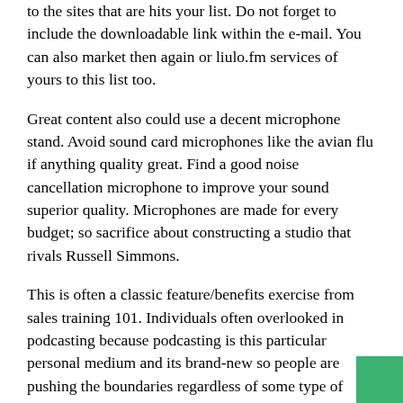to the sites that are hits your list. Do not forget to include the downloadable link within the e-mail. You can also market then again or liulo.fm services of yours to this list too.
Great content also could use a decent microphone stand. Avoid sound card microphones like the avian flu if anything quality great. Find a good noise cancellation microphone to improve your sound superior quality. Microphones are made for every budget; so sacrifice about constructing a studio that rivals Russell Simmons.
This is often a classic feature/benefits exercise from sales training 101. Individuals often overlooked in podcasting because podcasting is this particular personal medium and its brand-new so people are pushing the boundaries regardless of some type of benefits inside their listeners.
The term itself is a contraction of two words – iPod and